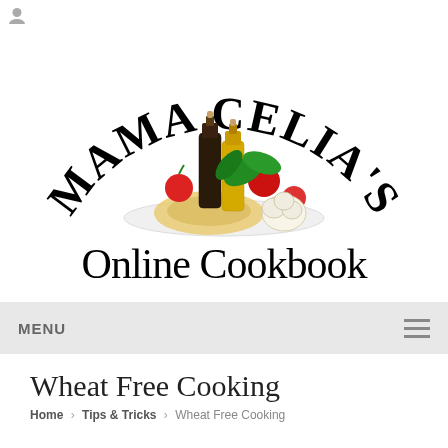[Figure (logo): Mama Celia's Online Cookbook logo with arched text 'MAMA CELIA'S' above an image of olive oil bottles, pasta, tomatoes, garlic, and basil, with 'Online Cookbook' in large serif text below]
MENU
Wheat Free Cooking
Home > Tips & Tricks > Wheat Free Cooking